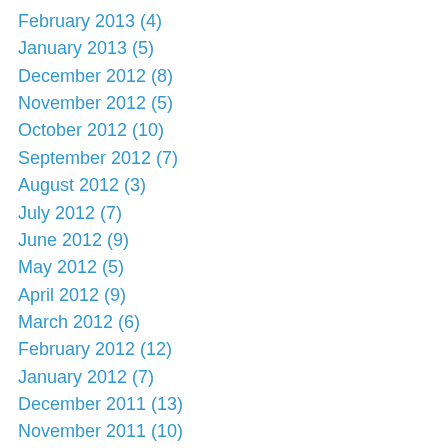February 2013 (4)
January 2013 (5)
December 2012 (8)
November 2012 (5)
October 2012 (10)
September 2012 (7)
August 2012 (3)
July 2012 (7)
June 2012 (9)
May 2012 (5)
April 2012 (9)
March 2012 (6)
February 2012 (12)
January 2012 (7)
December 2011 (13)
November 2011 (10)
October 2011 (6)
September 2011 (7)
August 2011 (6)
July 2011 (6)